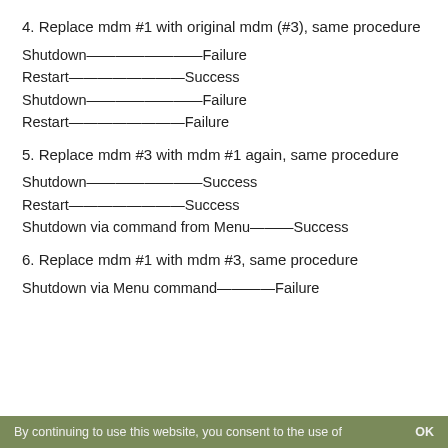4. Replace mdm #1 with original mdm (#3), same procedure
Shutdown————————Failure
Restart————————Success
Shutdown————————Failure
Restart————————Failure
5. Replace mdm #3 with mdm #1 again, same procedure
Shutdown————————Success
Restart————————Success
Shutdown via command from Menu———Success
6. Replace mdm #1 with mdm #3, same procedure
Shutdown via Menu command————Failure
By continuing to use this website, you consent to the use of   OK